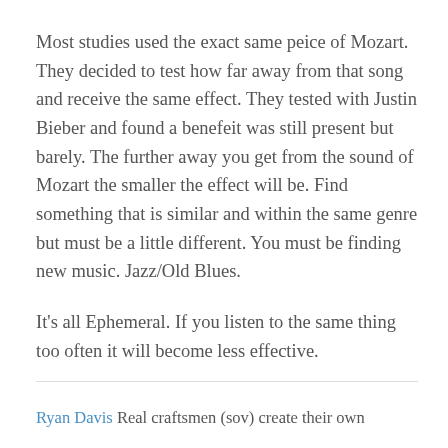Most studies used the exact same peice of Mozart. They decided to test how far away from that song and receive the same effect. They tested with Justin Bieber and found a benefeit was still present but barely. The further away you get from the sound of Mozart the smaller the effect will be. Find something that is similar and within the same genre but must be a little different. You must be finding new music. Jazz/Old Blues.
It's all Ephemeral. If you listen to the same thing too often it will become less effective.
Ryan Davis Real craftsmen (sov) create their own...